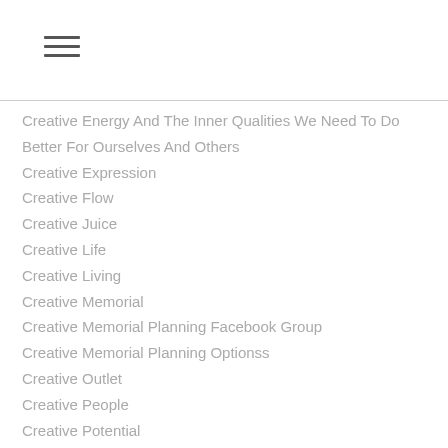Creative Energy And The Inner Qualities We Need To Do Better For Ourselves And Others
Creative Expression
Creative Flow
Creative Juice
Creative Life
Creative Living
Creative Memorial
Creative Memorial Planning Facebook Group
Creative Memorial Planning Optionss
Creative Outlet
Creative People
Creative Potential
Creativepreneur
Creative Process
Creative Resources
Creatives
Creative Solutions Arise From Within Limitations And Even